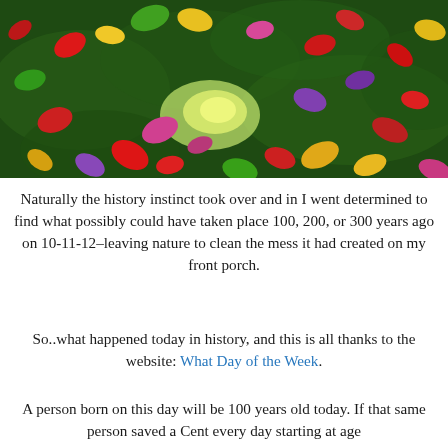[Figure (photo): Photo of colorful autumn leaves (red, yellow, green, purple, pink) scattered on dark green grass, with a bright sunlit patch in the center]
Naturally the history instinct took over and in I went determined to find what possibly could have taken place 100, 200, or 300 years ago on 10-11-12–leaving nature to clean the mess it had created on my front porch.
So..what happened today in history, and this is all thanks to the website: What Day of the Week.
A person born on this day will be 100 years old today. If that same person saved a Cent every day starting at age